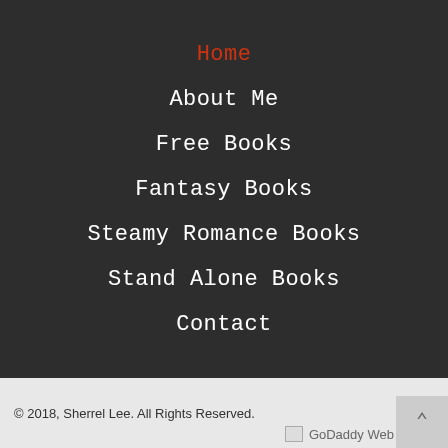Home
About Me
Free Books
Fantasy Books
Steamy Romance Books
Stand Alone Books
Contact
© 2018, Sherrel Lee. All Rights Reserved.